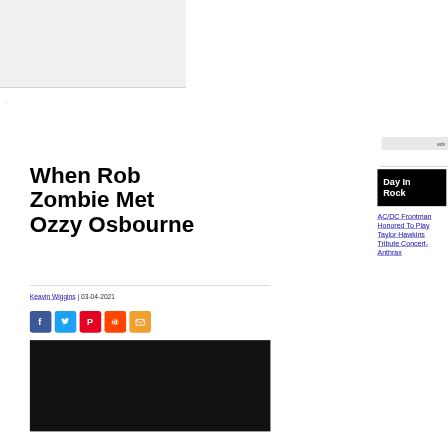[Figure (other): Gray advertisement banner area at top of page]
.
adv
When Rob Zombie Met Ozzy Osbourne
Keavin Wiggins | 03-04-2021
[Figure (other): Social media sharing icons: Facebook, Twitter, Pinterest, Reddit, Email]
[Figure (photo): Photograph of a person, dark background]
Day In Rock
AC/DC Frontman Honored To Play Taylor Hawkins Tribute Concert- Anthrax